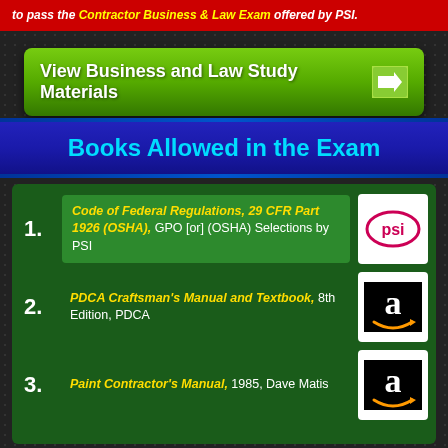to pass the Contractor Business & Law Exam offered by PSI.
View Business and Law Study Materials →
Books Allowed in the Exam
1. Code of Federal Regulations, 29 CFR Part 1926 (OSHA), GPO [or] (OSHA) Selections by PSI
2. PDCA Craftsman's Manual and Textbook, 8th Edition, PDCA
3. Paint Contractor's Manual, 1985, Dave Matis